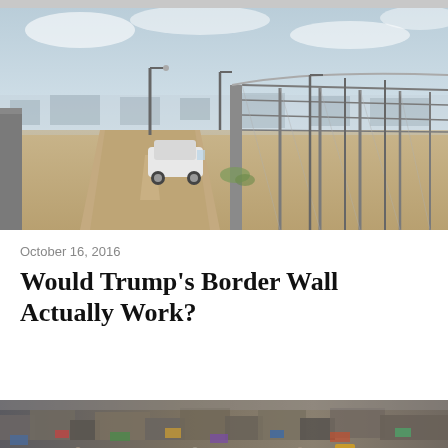[Figure (photo): Aerial/ground view of the US-Mexico border wall with a patrol vehicle on a dirt road between two fences, with urban area visible in the background under a hazy sky.]
October 16, 2016
Would Trump’s Border Wall Actually Work?
[Figure (photo): Aerial view of a dense border settlement or shantytown with makeshift structures, tarps, people, and vehicles visible from above.]